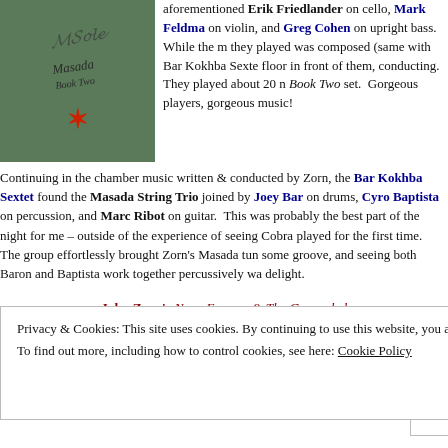[Figure (illustration): Green album cover with cursive scribble text at top and a dark red asterisk/star symbol in the center]
aforementioned Erik Friedlander on cello, Mark Feldman on violin, and Greg Cohen on upright bass. While the music they played was composed (same with Bar Kokhba Sextet), floor in front of them, conducting. They played about 20 m Book Two set. Gorgeous players, gorgeous music!
Continuing in the chamber music written & conducted by Zorn, the Bar Kokhba Sextet found the Masada String Trio joined by Joey Baron on drums, Cyro Baptista on percussion, and Marc Ribot on guitar. This was probably the best part of the night for me – outside of the experience of seeing Cobra played for the first time. The group effortlessly brought Zorn's Masada tunes some groove, and seeing both Baron and Baptista work together percussively was a delight.
John Zorn's Nova Express & The Concealed encore:
John Zorn playing to Wallace Berman's film Aleph with Kenny Wollesen & Greg Cohen
(about 75 minutes total)
Privacy & Cookies: This site uses cookies. By continuing to use this website, you agree to their use.
To find out more, including how to control cookies, see here: Cookie Policy
Close and accept